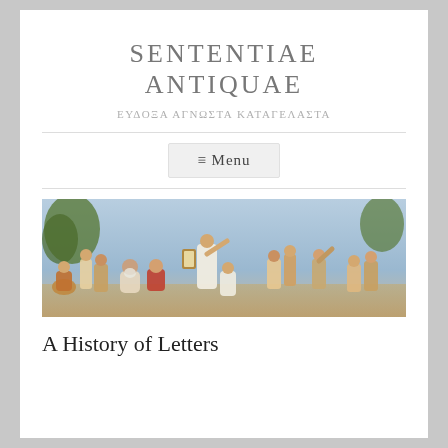SENTENTIAE ANTIQUAE
ΕΥΔΟΞΑ ΑΓΝΩΣΤΑ ΚΑΤΑΓΕΛΑΣΤΑ
≡ Menu
[Figure (illustration): Classical painting depicting a group of ancient Greek or Roman figures in robes, gathered together in an outdoor scene. A central figure with arm raised appears to be teaching or speaking to the assembled crowd.]
A History of Letters